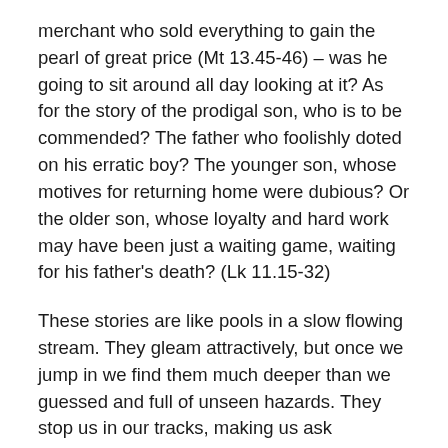merchant who sold everything to gain the pearl of great price (Mt 13.45-46) – was he going to sit around all day looking at it? As for the story of the prodigal son, who is to be commended? The father who foolishly doted on his erratic boy? The younger son, whose motives for returning home were dubious? Or the older son, whose loyalty and hard work may have been just a waiting game, waiting for his father's death? (Lk 11.15-32)
These stories are like pools in a slow flowing stream. They gleam attractively, but once we jump in we find them much deeper than we guessed and full of unseen hazards. They stop us in our tracks, making us ask questions such as, how real is my virtue? Do I really love and serve others or do my own needs subtly shape my relationships?